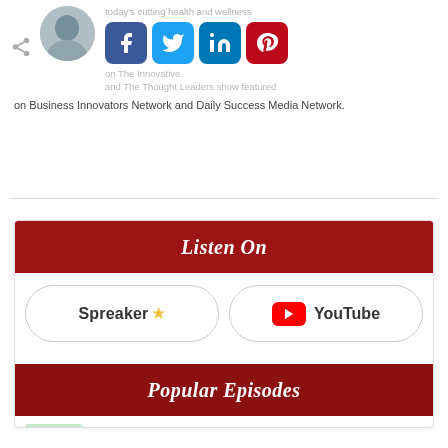[Figure (illustration): Partial profile photo (top-cropped), share icon, four social media buttons (Facebook, Twitter, LinkedIn, Pinterest), with faded background text about health and wellness shows]
on Business Innovators Network and Daily Success Media Network.
[Figure (infographic): Listen On banner (dark red) with Spreaker and YouTube platform buttons below]
[Figure (infographic): Popular Episodes banner (dark red) with episode thumbnail preview]